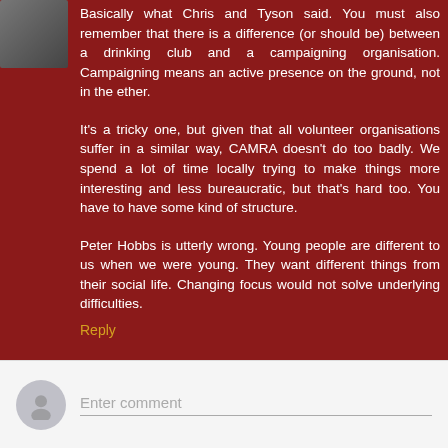[Figure (photo): Small avatar photo of a person, partially visible in top-left corner]
Basically what Chris and Tyson said. You must also remember that there is a difference (or should be) between a drinking club and a campaigning organisation. Campaigning means an active presence on the ground, not in the ether.
It's a tricky one, but given that all volunteer organisations suffer in a similar way, CAMRA doesn't do too badly. We spend a lot of time locally trying to make things more interesting and less bureaucratic, but that's hard too. You have to have some kind of structure.
Peter Hobbs is utterly wrong. Young people are different to us when we were young. They want different things from their social life. Changing focus would not solve underlying difficulties.
Reply
Enter comment